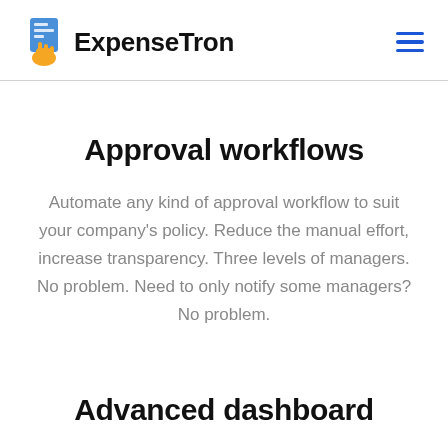ExpenseTron
Approval workflows
Automate any kind of approval workflow to suit your company's policy. Reduce the manual effort, increase transparency. Three levels of managers. No problem. Need to only notify some managers? No problem.
Advanced dashboard